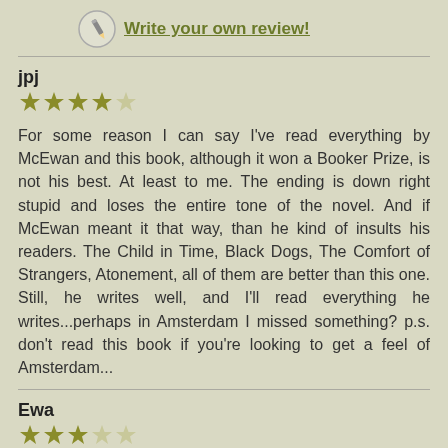Write your own review!
jpj
[Figure (other): 4 out of 5 stars rating for reviewer jpj]
For some reason I can say I've read everything by McEwan and this book, although it won a Booker Prize, is not his best. At least to me. The ending is down right stupid and loses the entire tone of the novel. And if McEwan meant it that way, than he kind of insults his readers. The Child in Time, Black Dogs, The Comfort of Strangers, Atonement, all of them are better than this one. Still, he writes well, and I'll read everything he writes...perhaps in Amsterdam I missed something? p.s. don't read this book if you're looking to get a feel of Amsterdam...
Ewa
[Figure (other): 3 out of 5 stars rating for reviewer Ewa]